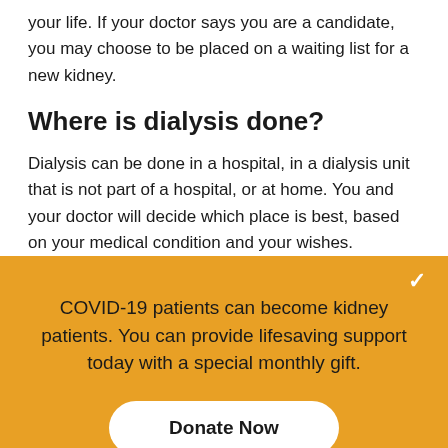your life. If your doctor says you are a candidate, you may choose to be placed on a waiting list for a new kidney.
Where is dialysis done?
Dialysis can be done in a hospital, in a dialysis unit that is not part of a hospital, or at home. You and your doctor will decide which place is best, based on your medical condition and your wishes.
COVID-19 patients can become kidney patients. You can provide lifesaving support today with a special monthly gift.
Donate Now